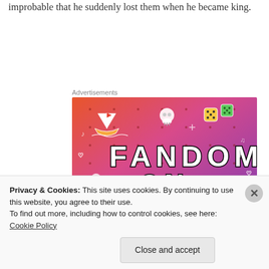improbable that he suddenly lost them when he became king.
Advertisements
[Figure (illustration): Fandom on Tumblr advertisement banner with colorful gradient background (orange to purple), featuring the text FANDOM ON tumblr with various doodle icons including a sailboat, skull, dice, and other decorative elements.]
Privacy & Cookies: This site uses cookies. By continuing to use this website, you agree to their use.
To find out more, including how to control cookies, see here: Cookie Policy
Close and accept